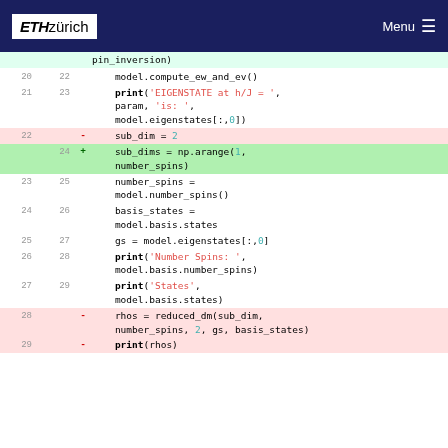ETH zürich | Menu
[Figure (screenshot): Code diff viewer showing Python code lines 20-29 with added/deleted lines highlighted. Deleted lines (22, 28, 29) shown in red background, added lines (24) shown in green background.]